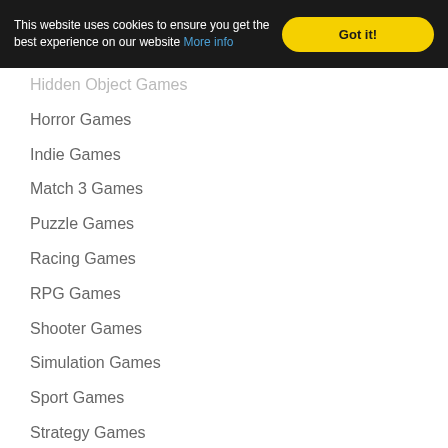This website uses cookies to ensure you get the best experience on our website More info | Got it!
Hidden Object Games
Horror Games
Indie Games
Match 3 Games
Puzzle Games
Racing Games
RPG Games
Shooter Games
Simulation Games
Sport Games
Strategy Games
Survival Games
Time Management Games
Tips and Tricks
Visual Novel Games